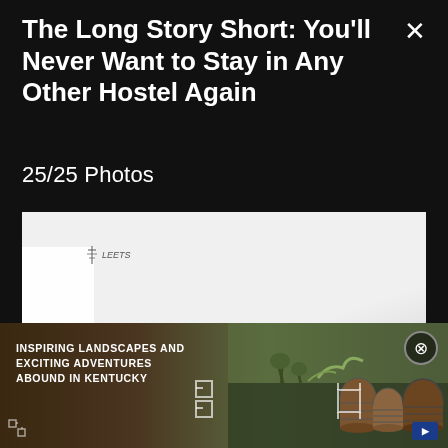The Long Story Short: You'll Never Want to Stay in Any Other Hostel Again
25/25 Photos
[Figure (photo): Interior photo of a hostel room showing white walls and a small logo, partially visible white panel/locker on left side]
[Figure (photo): Advertisement banner showing outdoor whiskey barrels in Kentucky landscape with text: INSPIRING LANDSCAPES AND EXCITING ADVENTURES ABOUND IN KENTUCKY]